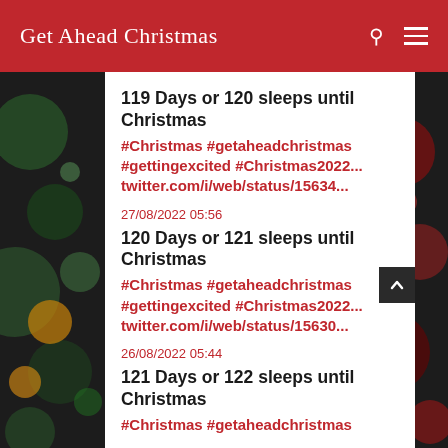Get Ahead Christmas
119 Days or 120 sleeps until Christmas
#Christmas #getaheadchristmas #gettingexcited #Christmas2022...
twitter.com/i/web/status/15634...
27/08/2022 05:56
120 Days or 121 sleeps until Christmas
#Christmas #getaheadchristmas #gettingexcited #Christmas2022...
twitter.com/i/web/status/15630...
26/08/2022 05:44
121 Days or 122 sleeps until Christmas
#Christmas #getaheadchristmas